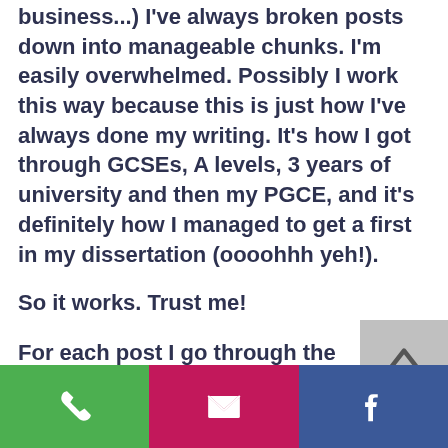business...) I've always broken posts down into manageable chunks. I'm easily overwhelmed. Possibly I work this way because this is just how I've always done my writing. It's how I got through GCSEs, A levels, 3 years of university and then my PGCE, and it's definitely how I managed to get a first in my dissertation (oooohhh yeh!).
So it works. Trust me!
For each post I go through the same 9 step process:
1.   Sketch out the skeleton